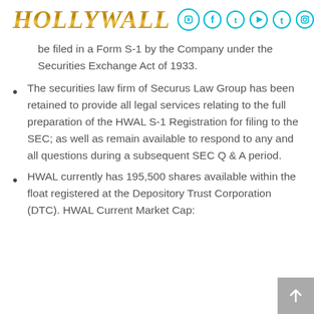HOLLYWALL
be filed in a Form S-1 by the Company under the Securities Exchange Act of 1933.
The securities law firm of Securus Law Group has been retained to provide all legal services relating to the full preparation of the HWAL S-1 Registration for filing to the SEC; as well as remain available to respond to any and all questions during a subsequent SEC Q & A period.
HWAL currently has 195,500 shares available within the float registered at the Depository Trust Corporation (DTC). HWAL Current Market Cap: